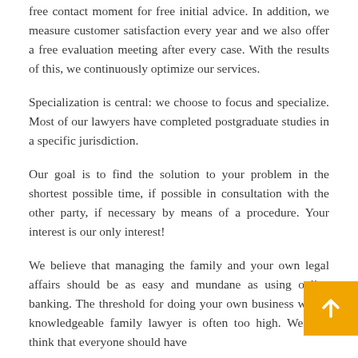free contact moment for free initial advice. In addition, we measure customer satisfaction every year and we also offer a free evaluation meeting after every case. With the results of this, we continuously optimize our services.
Specialization is central: we choose to focus and specialize. Most of our lawyers have completed postgraduate studies in a specific jurisdiction.
Our goal is to find the solution to your problem in the shortest possible time, if possible in consultation with the other party, if necessary by means of a procedure. Your interest is our only interest!
We believe that managing the family and your own legal affairs should be as easy and mundane as using online banking. The threshold for doing your own business with a knowledgeable family lawyer is often too high. We also think that everyone should have